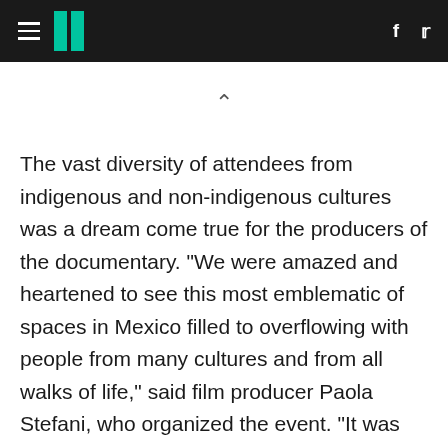HuffPost navigation with hamburger menu, logo, Facebook and Twitter icons
The vast diversity of attendees from indigenous and non-indigenous cultures was a dream come true for the producers of the documentary. "We were amazed and heartened to see this most emblematic of spaces in Mexico filled to overflowing with people from many cultures and from all walks of life," said film producer Paola Stefani, who organized the event. "It was very important for us as producers of this documentary to have the backing and support of all the traditional and agrarian authorities of the